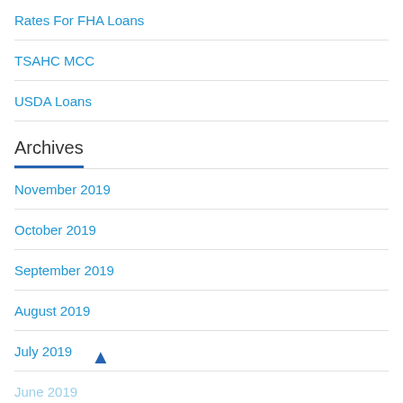Rates For FHA Loans
TSAHC MCC
USDA Loans
Archives
November 2019
October 2019
September 2019
August 2019
July 2019
June 2019
May 2019